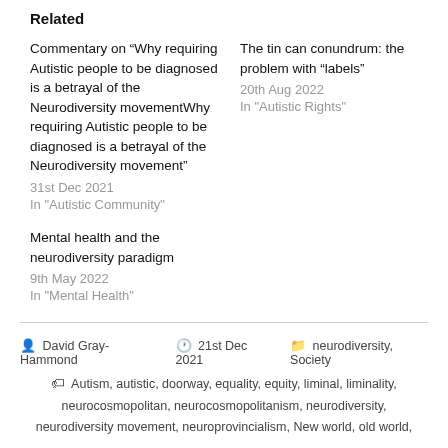Related
Commentary on “Why requiring Autistic people to be diagnosed is a betrayal of the Neurodiversity movementWhy requiring Autistic people to be diagnosed is a betrayal of the Neurodiversity movement”
31st Dec 2021
In “Autistic Community”
The tin can conundrum: the problem with “labels”
20th Aug 2022
In “Autistic Rights”
Mental health and the neurodiversity paradigm
9th May 2022
In “Mental Health”
David Gray-Hammond  21st Dec 2021  neurodiversity, Society  Autism, autistic, doorway, equality, equity, liminal, liminality, neurocosmopolitan, neurocosmopolitanism, neurodiversity, neurodiversity movement, neuroprovincialism, New world, old world,